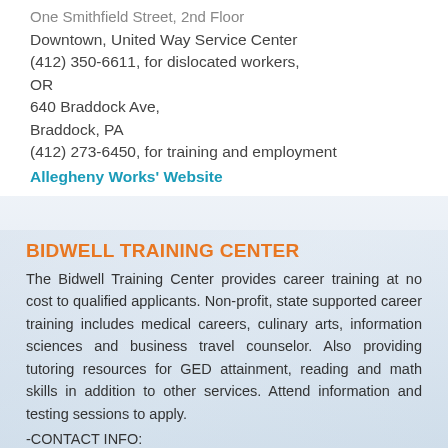One Smithfield Street, 2nd Floor
Downtown, United Way Service Center
(412) 350-6611, for dislocated workers,
OR
640 Braddock Ave,
Braddock, PA
(412) 273-6450, for training and employment
Allegheny Works' Website
BIDWELL TRAINING CENTER
The Bidwell Training Center provides career training at no cost to qualified applicants. Non-profit, state supported career training includes medical careers, culinary arts, information sciences and business travel counselor. Also providing tutoring resources for GED attainment, reading and math skills in addition to other services. Attend information and testing sessions to apply.
-CONTACT INFO:
Manchester Bidwell Corp